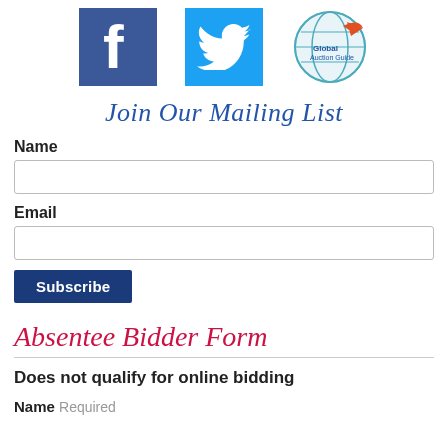[Figure (logo): Three social/brand icons in a row: Facebook (blue square with white F), Twitter (blue square with white bird), and Global Auction Guide (globe with arrow logo)]
Join Our Mailing List
Name
Email
Subscribe
Absentee Bidder Form
Does not qualify for online bidding
Name Required